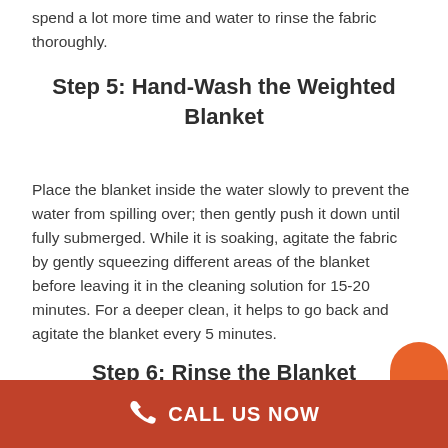spend a lot more time and water to rinse the fabric thoroughly.
Step 5: Hand-Wash the Weighted Blanket
Place the blanket inside the water slowly to prevent the water from spilling over; then gently push it down until fully submerged. While it is soaking, agitate the fabric by gently squeezing different areas of the blanket before leaving it in the cleaning solution for 15-20 minutes. For a deeper clean, it helps to go back and agitate the blanket every 5 minutes.
Step 6: Rinse the Blanket
CALL US NOW